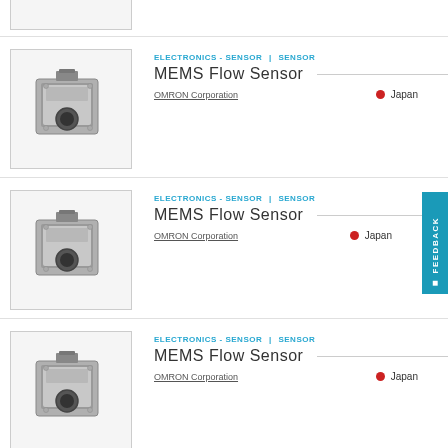[Figure (photo): MEMS Flow Sensor product photo (partial, top of page)]
[Figure (photo): MEMS Flow Sensor product image - OMRON Corporation]
ELECTRONICS - SENSOR | SENSOR
MEMS Flow Sensor
OMRON Corporation
Japan
[Figure (photo): MEMS Flow Sensor product image - OMRON Corporation]
ELECTRONICS - SENSOR | SENSOR
MEMS Flow Sensor
OMRON Corporation
Japan
[Figure (photo): MEMS Flow Sensor product image - OMRON Corporation]
ELECTRONICS - SENSOR | SENSOR
MEMS Flow Sensor
OMRON Corporation
Japan